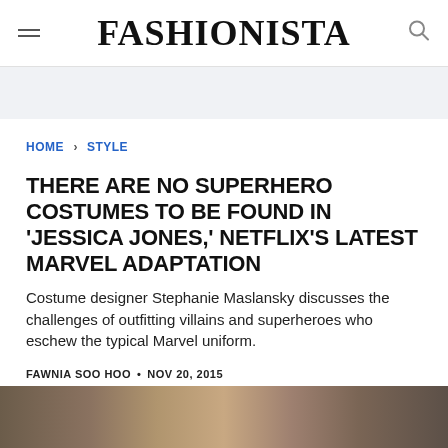FASHIONISTA
HOME > STYLE
THERE ARE NO SUPERHERO COSTUMES TO BE FOUND IN 'JESSICA JONES,' NETFLIX'S LATEST MARVEL ADAPTATION
Costume designer Stephanie Maslansky discusses the challenges of outfitting villains and superheroes who eschew the typical Marvel uniform.
FAWNIA SOO HOO • NOV 20, 2015
[Figure (infographic): Social share icons: Facebook (blue f), Twitter (blue bird), Pinterest (red P)]
[Figure (photo): Bottom image strip showing partial photograph]